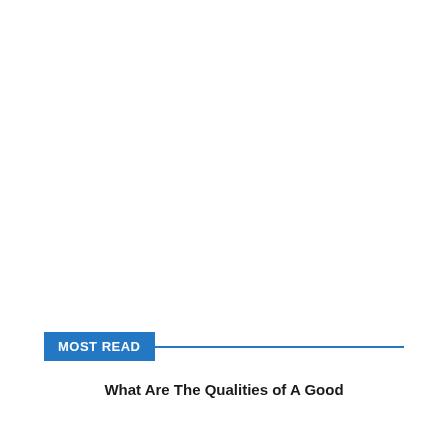MOST READ
What Are The Qualities of A Good